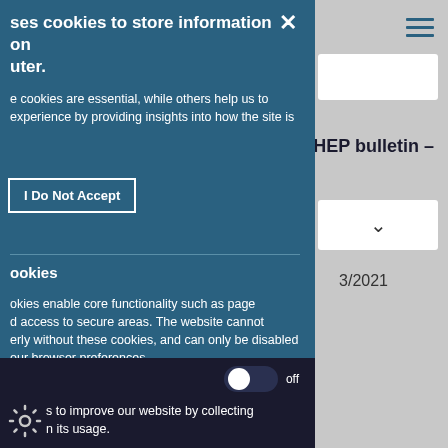[Figure (screenshot): Cookie consent overlay modal on a website. Left panel is teal/dark blue with cookie notice text and buttons. Right panel is grey with website navigation elements including search box, HEP bulletin text, dropdown, date '3/2021', and hamburger menu icon.]
ses cookies to store information on uter.
e cookies are essential, while others help us to experience by providing insights into how the site is
I Do Not Accept
ookies
okies enable core functionality such as page d access to secure areas. The website cannot erly without these cookies, and can only be disabled our browser preferences.
off
s to improve our website by collecting n its usage.
HEP bulletin –
3/2021